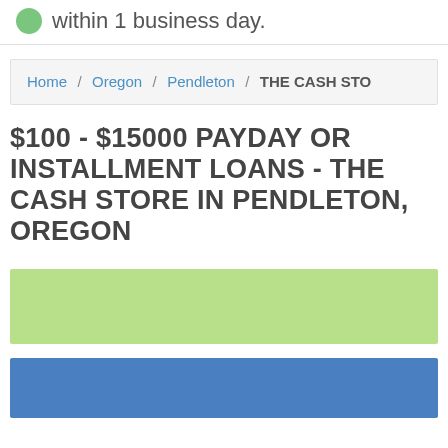within 1 business day.
Home / Oregon / Pendleton / THE CASH STO
$100 - $15000 PAYDAY OR INSTALLMENT LOANS - THE CASH STORE IN PENDLETON, OREGON
[Figure (other): Green decorative block/banner area]
[Figure (other): Blue decorative block/banner area]